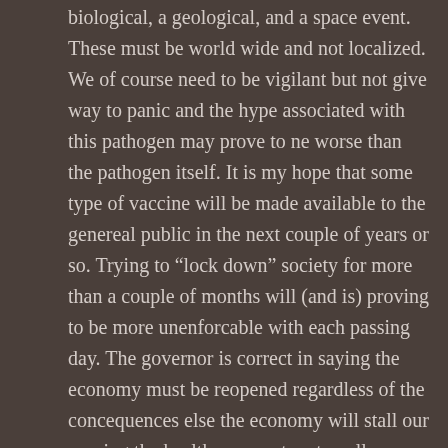biological, a geological, and a space event. These must be world wide and not localized. We of course need to be vigilant but not give way to panic and the hype associated with this pathogen may prove to ne worse than the pathogen itself. It is my hope that some type of vaccine will be made available to the genereal public in the next couple of years or so. Trying to “lock down” society for more than a couple of months will (and is) proving to be more unenforcable with each passing day. The governor is correct in saying the economy must be reopened regardless of the concequences else the economy will stall our causing the health care system to collapse. My greatest fear is just that. My degree field was biology/chemistry and my grad work was mostly econmics so I am looking at both sides of